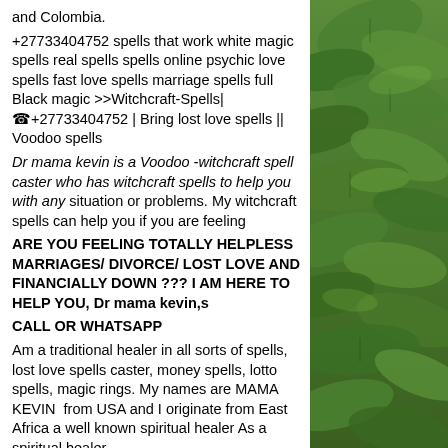and Colombia. +27733404752 spells that work white magic spells real spells spells online psychic love spells fast love spells marriage spells full Black magic >>Witchcraft-Spells| ☎+27733404752 | Bring lost love spells || Voodoo spells Dr mama kevin is a Voodoo -witchcraft spell caster who has witchcraft spells to help you with any situation or problems. My witchcraft spells can help you if you are feeling ARE YOU FEELING TOTALLY HELPLESS MARRIAGES/ DIVORCE/ LOST LOVE AND FINANCIALLY DOWN ??? I AM HERE TO HELP YOU, Dr mama kevin,s CALL OR WHATSAPP Am a traditional healer in all sorts of spells, lost love spells caster, money spells, lotto spells, magic rings. My names are MAMA KEVIN from USA and I originate from East Africa a well known spiritual healer As a spiritual healer...
[Figure (photo): Green leafy plants/foliage background image on the right side of the page]